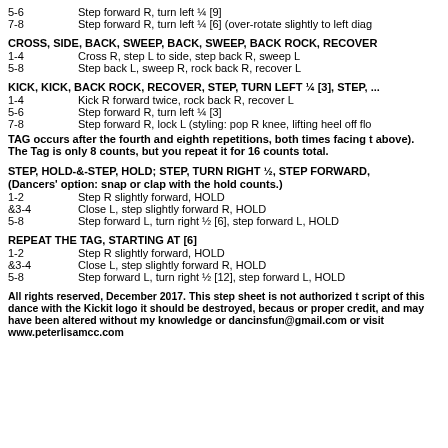5-6   Step forward R, turn left ¼ [9]
7-8   Step forward R, turn left ¼ [6] (over-rotate slightly to left diag
CROSS, SIDE, BACK, SWEEP, BACK, SWEEP, BACK ROCK, RECOVER
1-4   Cross R, step L to side, step back R, sweep L
5-8   Step back L, sweep R, rock back R, recover L
KICK, KICK, BACK ROCK, RECOVER, STEP, TURN LEFT ¼ [3], STEP, ...
1-4   Kick R forward twice, rock back R, recover L
5-6   Step forward R, turn left ¼ [3]
7-8   Step forward R, lock L (styling: pop R knee, lifting heel off flo
TAG occurs after the fourth and eighth repetitions, both times facing t above). The Tag is only 8 counts, but you repeat it for 16 counts total.
STEP, HOLD-&-STEP, HOLD; STEP, TURN RIGHT ½, STEP FORWARD, ...
(Dancers' option: snap or clap with the hold counts.)
1-2   Step R slightly forward, HOLD
&3-4  Close L, step slightly forward R, HOLD
5-8   Step forward L, turn right ½ [6], step forward L, HOLD
REPEAT THE TAG, STARTING AT [6]
1-2   Step R slightly forward, HOLD
&3-4  Close L, step slightly forward R, HOLD
5-8   Step forward L, turn right ½ [12], step forward L, HOLD
All rights reserved, December 2017. This step sheet is not authorized t script of this dance with the Kickit logo it should be destroyed, becaus or proper credit, and may have been altered without my knowledge or dancinsfun@gmail.com or visit www.peterlisamcc.com